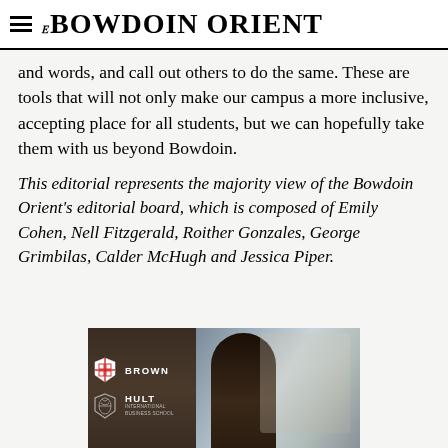THE BOWDOIN ORIENT
and words, and call out others to do the same. These are tools that will not only make our campus a more inclusive, accepting place for all students, but we can hopefully take them with us beyond Bowdoin.
This editorial represents the majority view of the Bowdoin Orient's editorial board, which is composed of Emily Cohen, Nell Fitzgerald, Roither Gonzales, George Grimbilas, Calder McHugh and Jessica Piper.
[Figure (photo): Advertisement photo for Brown University and Hult International Business School featuring a smiling young Black man, with logos for Brown University and Hult International Business School overlaid on the left side against a dark brown background.]